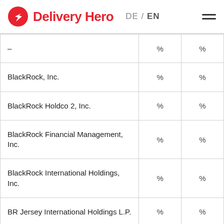Delivery Hero DE / EN
|  | % | % |
| --- | --- | --- |
| – | % | % |
| BlackRock, Inc. | % | % |
| BlackRock Holdco 2, Inc. | % | % |
| BlackRock Financial Management, Inc. | % | % |
| BlackRock International Holdings, Inc. | % | % |
| BR Jersey International Holdings L.P. | % | % |